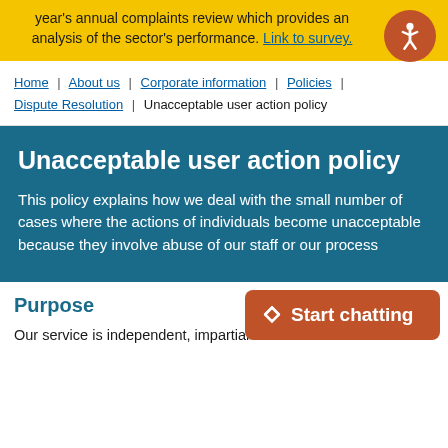year's annual complaints review which provides an analysis of the sector's performance. Link to survey.
[Figure (other): Accessibility icon button - orange circle with white person/accessibility symbol]
Home | About us | Corporate information | Policies | Dispute Resolution | Unacceptable user action policy
Unacceptable user action policy
This policy explains how we deal with the small number of cases where the actions of individuals become unacceptable because they involve abuse of our staff or our process
Purpose
[Figure (other): Start chatting button - orange/brown rounded rectangle with upward arrow and text 'Start chatting']
Our service is independent, impartial and free. We believe